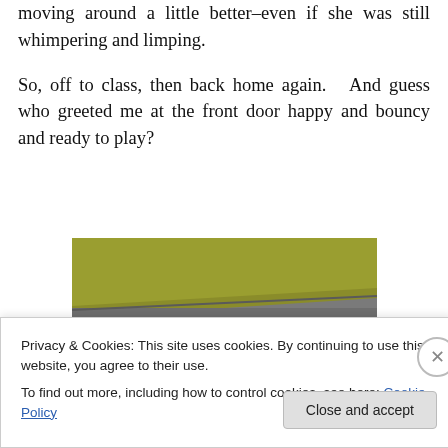moving around a little better–even if she was still whimpering and limping.
So, off to class, then back home again.   And guess who greeted me at the front door happy and bouncy and ready to play?
[Figure (photo): A small white fluffy Pekingese dog sitting near a curb or step edge, looking at the camera. The background shows a yellow/green painted curb or mat and grey pavement.]
Privacy & Cookies: This site uses cookies. By continuing to use this website, you agree to their use.
To find out more, including how to control cookies, see here: Cookie Policy